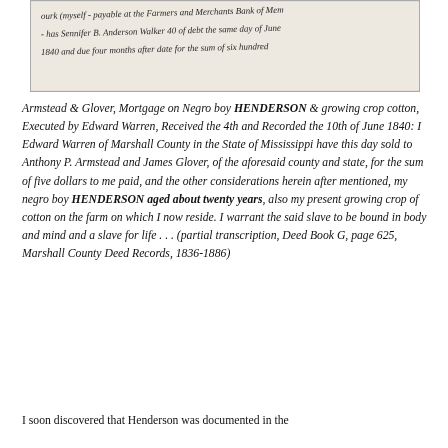[Figure (photo): Scanned handwritten historical document excerpt showing cursive script, partially legible, referencing Farmers and Merchants Bank, Anderson Walker, and June 1840.]
Armstead & Glover, Mortgage on Negro boy HENDERSON & growing crop cotton, Executed by Edward Warren, Received the 4th and Recorded the 10th of June 1840: I Edward Warren of Marshall County in the State of Mississippi have this day sold to Anthony P. Armstead and James Glover, of the aforesaid county and state, for the sum of five dollars to me paid, and the other considerations herein after mentioned, my negro boy HENDERSON aged about twenty years, also my present growing crop of cotton on the farm on which I now reside. I warrant the said slave to be bound in body and mind and a slave for life . . . (partial transcription, Deed Book G, page 625, Marshall County Deed Records, 1836-1886)
I soon discovered that Henderson was documented in the